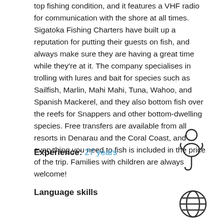top fishing condition, and it features a VHF radio for communication with the shore at all times. Sigatoka Fishing Charters have built up a reputation for putting their guests on fish, and always make sure they are having a great time while they're at it. The company specialises in trolling with lures and bait for species such as Sailfish, Marlin, Mahi Mahi, Tuna, Wahoo, and Spanish Mackerel, and they also bottom fish over the reefs for Snappers and other bottom-dwelling species. Free transfers are available from all resorts in Denarau and the Coral Coast, and everything you need to fish is included in the price of the trip. Families with children are always welcome!
Experience: 27 years
[Figure (illustration): Fishing lure icon - stylized fish with hook]
Language skills
[Figure (illustration): Globe/world icon representing language skills]